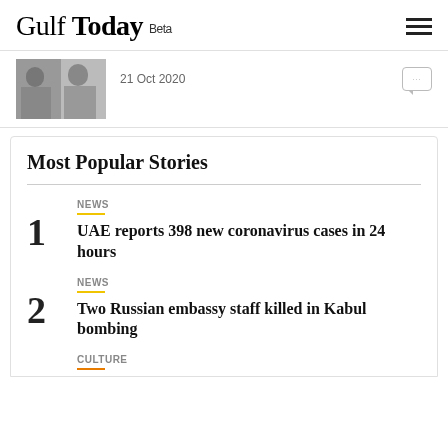Gulf Today Beta
[Figure (photo): Photo of two people, partially visible, date: 21 Oct 2020]
Most Popular Stories
NEWS
1 UAE reports 398 new coronavirus cases in 24 hours
NEWS
2 Two Russian embassy staff killed in Kabul bombing
CULTURE